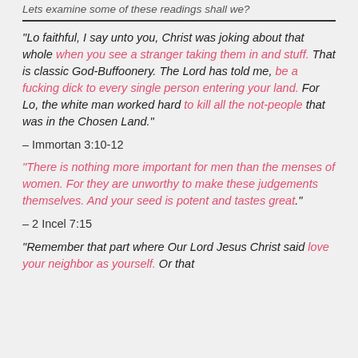Lets examine some of these readings shall we?
"Lo faithful, I say unto you, Christ was joking about that whole when you see a stranger taking them in and stuff. That is classic God-Buffoonery. The Lord has told me, be a fucking dick to every single person entering your land. For Lo, the white man worked hard to kill all the not-people that was in the Chosen Land."
– Immortan 3:10-12
"There is nothing more important for men than the menses of women. For they are unworthy to make these judgements themselves. And your seed is potent and tastes great."
– 2 Incel 7:15
"Remember that part where Our Lord Jesus Christ said love your neighbor as yourself. Or that